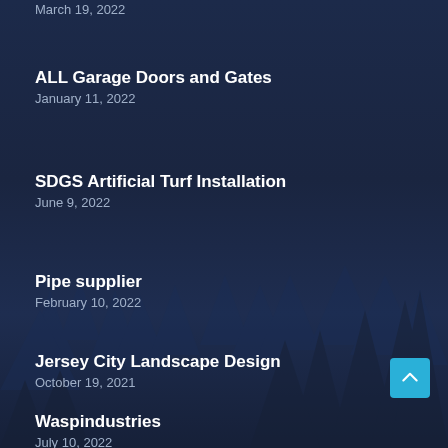March 19, 2022
ALL Garage Doors and Gates
January 11, 2022
SDGS Artificial Turf Installation
June 9, 2022
Pipe supplier
February 10, 2022
Jersey City Landscape Design
October 19, 2021
Waspindustries
July 10, 2022